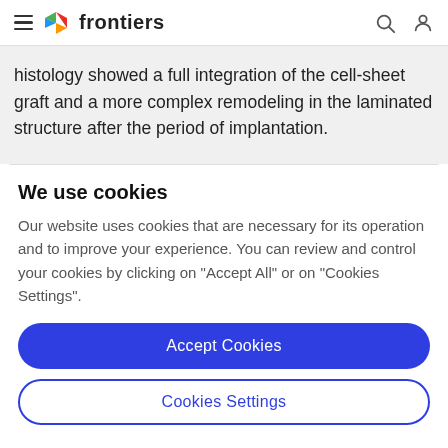frontiers
histology showed a full integration of the cell-sheet graft and a more complex remodeling in the laminated structure after the period of implantation.
We use cookies
Our website uses cookies that are necessary for its operation and to improve your experience. You can review and control your cookies by clicking on "Accept All" or on "Cookies Settings".
Accept Cookies
Cookies Settings